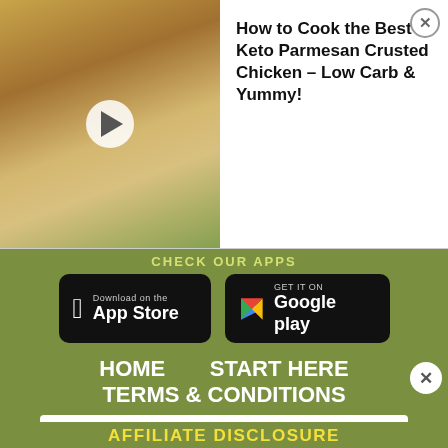[Figure (screenshot): Video thumbnail showing Keto Parmesan Crusted Chicken with play button overlay]
How to Cook the Best Keto Parmesan Crusted Chicken - Low Carb & Yummy!
CHECK OUR APPS
[Figure (screenshot): Download on the App Store button (black rounded rectangle with Apple logo)]
[Figure (screenshot): GET IT ON Google play button (black rounded rectangle with Google Play logo)]
HOME    START HERE
TERMS & CONDITIONS
[Figure (screenshot): Advertisement: Make an impact with insights. Empower business leaders to access data in all formats to make insightful decision faster. Sense Forth. Open button.]
AFFILIATE DISCLOSURE